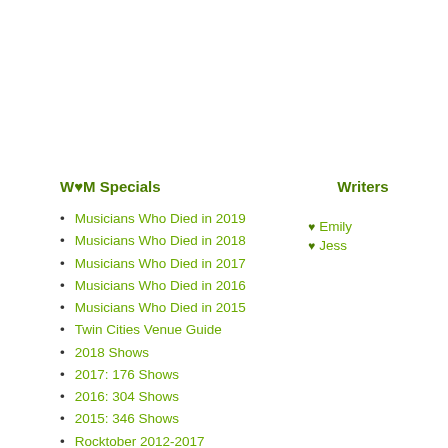W♥M Specials
Musicians Who Died in 2019
Musicians Who Died in 2018
Musicians Who Died in 2017
Musicians Who Died in 2016
Musicians Who Died in 2015
Twin Cities Venue Guide
2018 Shows
2017: 176 Shows
2016: 304 Shows
2015: 346 Shows
Rocktober 2012-2017
Every date that Morrissey has ever canceled
Registered Historical Facts: Smiths and
Writers
♥ Emily
♥ Jess